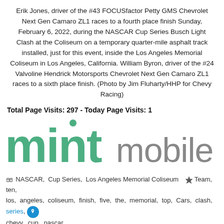Erik Jones, driver of the #43 FOCUSfactor Petty GMS Chevrolet Next Gen Camaro ZL1 races to a fourth place finish Sunday, February 6, 2022, during the NASCAR Cup Series Busch Light Clash at the Coliseum on a temporary quarter-mile asphalt track installed, just for this event, inside the Los Angeles Memorial Coliseum in Los Angeles, California. William Byron, driver of the #24 Valvoline Hendrick Motorsports Chevrolet Next Gen Camaro ZL1 races to a sixth place finish. (Photo by Jim Fluharty/HHP for Chevy Racing)
Total Page Visits: 297 - Today Page Visits: 1
[Figure (logo): Mint Mobile logo — 'mint' in green bold rounded font, 'mobile' in gray regular font]
NASCAR, Cup Series, Los Angeles Memorial Coliseum  Team, ten, los, angeles, coliseum, finish, five, the, memorial, top, Cars, clash, series, chevy, cup, nascar